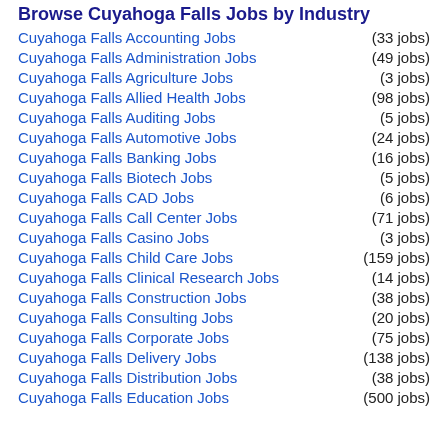Browse Cuyahoga Falls Jobs by Industry
Cuyahoga Falls Accounting Jobs (33 jobs)
Cuyahoga Falls Administration Jobs (49 jobs)
Cuyahoga Falls Agriculture Jobs (3 jobs)
Cuyahoga Falls Allied Health Jobs (98 jobs)
Cuyahoga Falls Auditing Jobs (5 jobs)
Cuyahoga Falls Automotive Jobs (24 jobs)
Cuyahoga Falls Banking Jobs (16 jobs)
Cuyahoga Falls Biotech Jobs (5 jobs)
Cuyahoga Falls CAD Jobs (6 jobs)
Cuyahoga Falls Call Center Jobs (71 jobs)
Cuyahoga Falls Casino Jobs (3 jobs)
Cuyahoga Falls Child Care Jobs (159 jobs)
Cuyahoga Falls Clinical Research Jobs (14 jobs)
Cuyahoga Falls Construction Jobs (38 jobs)
Cuyahoga Falls Consulting Jobs (20 jobs)
Cuyahoga Falls Corporate Jobs (75 jobs)
Cuyahoga Falls Delivery Jobs (138 jobs)
Cuyahoga Falls Distribution Jobs (38 jobs)
Cuyahoga Falls Education Jobs (500 jobs)